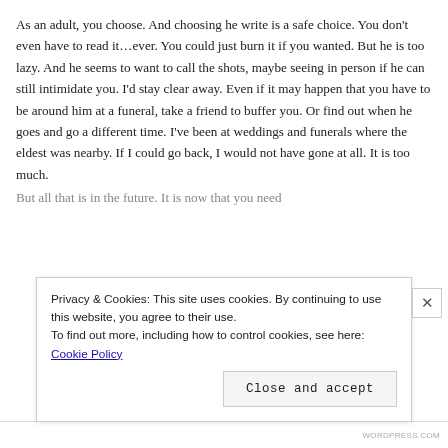As an adult, you choose. And choosing he write is a safe choice. You don't even have to read it…ever. You could just burn it if you wanted. But he is too lazy. And he seems to want to call the shots, maybe seeing in person if he can still intimidate you. I'd stay clear away. Even if it may happen that you have to be around him at a funeral, take a friend to buffer you. Or find out when he goes and go a different time. I've been at weddings and funerals where the eldest was nearby. If I could go back, I would not have gone at all. It is too much.
But all that is in the future. It is now that you need…
Privacy & Cookies: This site uses cookies. By continuing to use this website, you agree to their use. To find out more, including how to control cookies, see here: Cookie Policy
Close and accept